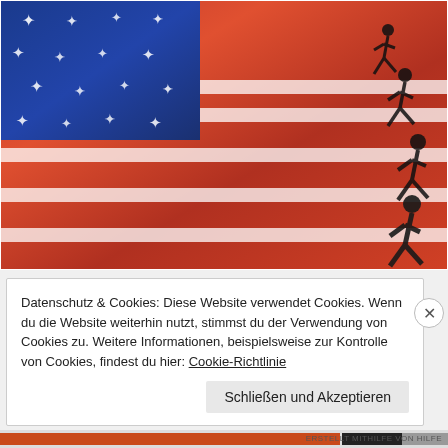[Figure (photo): A stylized American flag made of red satin fabric with white stripes, a blue canton with white stars, and black silhouette figures of runners along the right side, appearing to sprint across the stripes.]
Datenschutz & Cookies: Diese Website verwendet Cookies. Wenn du die Website weiterhin nutzt, stimmst du der Verwendung von Cookies zu. Weitere Informationen, beispielsweise zur Kontrolle von Cookies, findest du hier: Cookie-Richtlinie
Schließen und Akzeptieren
ERSTELLT MITHILFE VON HILFE